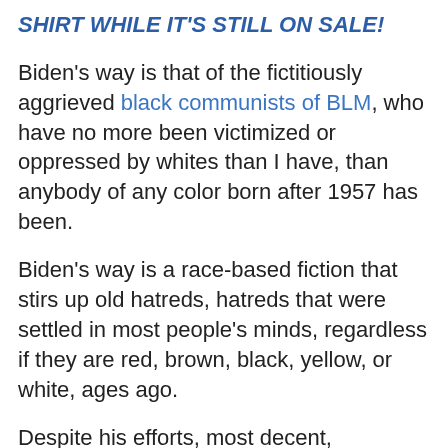SHIRT WHILE IT'S STILL ON SALE!
Biden's way is that of the fictitiously aggrieved black communists of BLM, who have no more been victimized or oppressed by whites than I have, than anybody of any color born after 1957 has been.
Biden's way is a race-based fiction that stirs up old hatreds, hatreds that were settled in most people's minds, regardless if they are red, brown, black, yellow, or white, ages ago.
Despite his efforts, most decent, especially